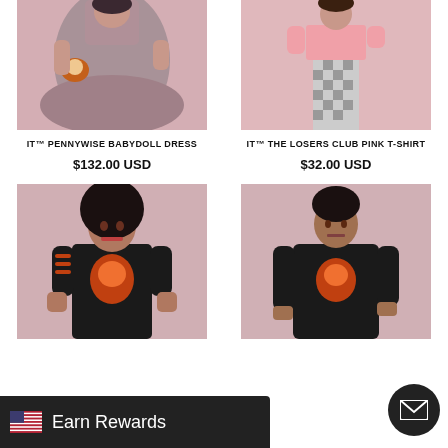[Figure (photo): Woman in grey babydoll dress holding a Pennywise clown purse, pink background]
IT™ PENNYWISE BABYDOLL DRESS
$132.00 USD
[Figure (photo): Person in checkered pants and pink top against pink background]
IT™ THE LOSERS CLUB PINK T-SHIRT
$32.00 USD
[Figure (photo): Woman in black top with orange Pennywise graphic design, against pink background]
[Figure (photo): Man in black sweatshirt with Pennywise graphic, against pink background]
Earn Rewards